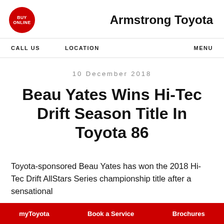[Figure (logo): Red circular logo with 'BUY ONLINE' text in white]
Armstrong Toyota
CALL US   LOCATION   MENU
10 December 2018
Beau Yates Wins Hi-Tec Drift Season Title In Toyota 86
Toyota-sponsored Beau Yates has won the 2018 Hi-Tec Drift AllStars Series championship title after a sensational
myToyota   Book a Service   Brochures